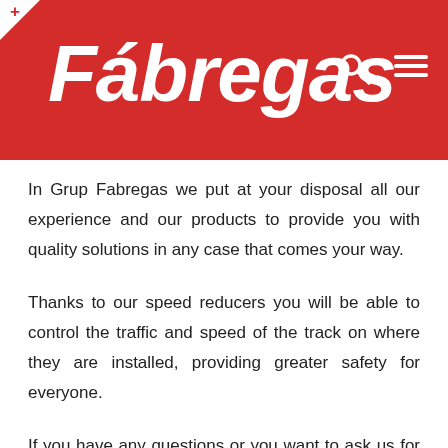Fábregas
In Grup Fabregas we put at your disposal all our experience and our products to provide you with quality solutions in any case that comes your way.
Thanks to our speed reducers you will be able to control the traffic and speed of the track on where they are installed, providing greater safety for everyone.
If you have any questions or you want to ask us for more information about our speed reducers or other products,